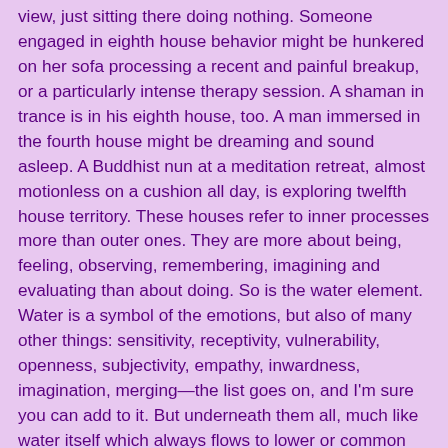view, just sitting there doing nothing. Someone engaged in eighth house behavior might be hunkered on her sofa processing a recent and painful breakup, or a particularly intense therapy session. A shaman in trance is in his eighth house, too. A man immersed in the fourth house might be dreaming and sound asleep. A Buddhist nun at a meditation retreat, almost motionless on a cushion all day, is exploring twelfth house territory. These houses refer to inner processes more than outer ones. They are more about being, feeling, observing, remembering, imagining and evaluating than about doing. So is the water element. Water is a symbol of the emotions, but also of many other things: sensitivity, receptivity, vulnerability, openness, subjectivity, empathy, inwardness, imagination, merging—the list goes on, and I'm sure you can add to it. But underneath them all, much like water itself which always flows to lower or common ground, there's an archetypal meta-symbol for water: the unconscious. Our emotions, the imagery of our dreams, and our ability to fantasize, to “dream” while we’re awake, all have roots stretching down to the unconscious mind. Which is a big topic! Think of it in the following way, although this preliminary interpretative summary is predictably fluid; we'll explore it in the rest